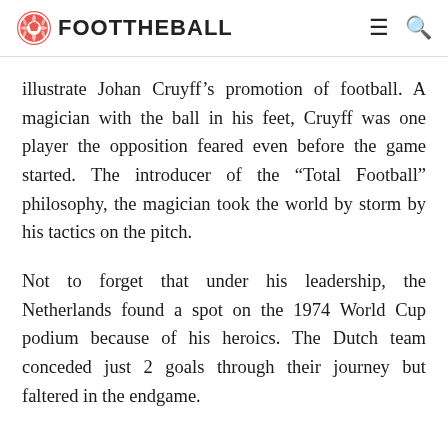FOOT THE BALL
illustrate Johan Cruyff’s promotion of football. A magician with the ball in his feet, Cruyff was one player the opposition feared even before the game started. The introducer of the “Total Football” philosophy, the magician took the world by storm by his tactics on the pitch.
Not to forget that under his leadership, the Netherlands found a spot on the 1974 World Cup podium because of his heroics. The Dutch team conceded just 2 goals through their journey but faltered in the endgame.